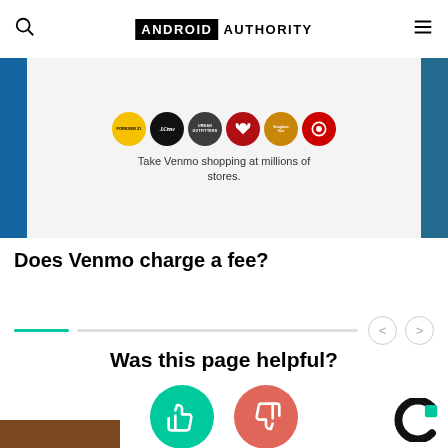ANDROID AUTHORITY
[Figure (photo): Venmo shopping page showing retailer logos (Forever 21, J.Crew, Urban Outfitters, Lululemon, Sunglass Hut, Target) with text 'Take Venmo shopping at millions of stores.' shown on a smartphone screen with teal/blue background]
Does Venmo charge a fee?
Was this page helpful?
[Figure (infographic): Two circular buttons: green thumbs-up button and red/salmon thumbs-down button for page feedback]
[Figure (logo): Sponsor/ad logo - black C shape with green square accent]